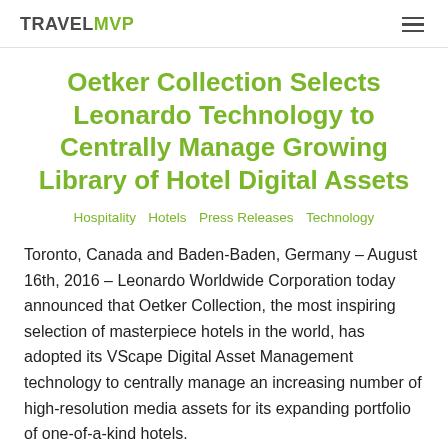TRAVELMVP
Oetker Collection Selects Leonardo Technology to Centrally Manage Growing Library of Hotel Digital Assets
Hospitality  Hotels  Press Releases  Technology
Toronto, Canada and Baden-Baden, Germany – August 16th, 2016 – Leonardo Worldwide Corporation today announced that Oetker Collection, the most inspiring selection of masterpiece hotels in the world, has adopted its VScape Digital Asset Management technology to centrally manage an increasing number of high-resolution media assets for its expanding portfolio of one-of-a-kind hotels.